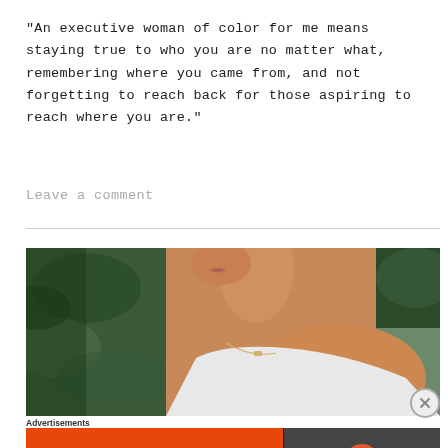"An executive woman of color for me means staying true to who you are no matter what, remembering where you came from, and not forgetting to reach back for those aspiring to reach where you are."
Leave a comment
[Figure (photo): Close-up photo of a woman of color in a white tank top with a delicate necklace, surrounded by green tropical leaves in the background]
Advertisements
[Figure (other): DuckDuckGo advertisement banner: orange left side reads 'Search, browse, and email with more privacy. All in One Free App', dark right side shows DuckDuckGo duck logo and brand name]